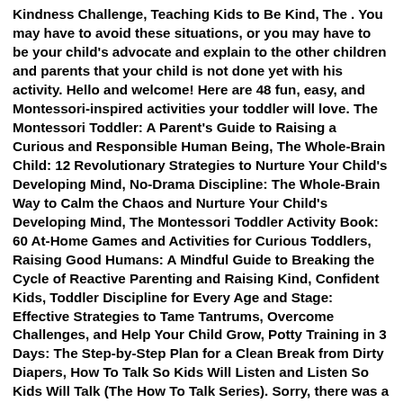Kindness Challenge, Teaching Kids to Be Kind, The . You may have to avoid these situations, or you may have to be your child's advocate and explain to the other children and parents that your child is not done yet with his activity. Hello and welcome! Here are 48 fun, easy, and Montessori-inspired activities your toddler will love. The Montessori Toddler: A Parent's Guide to Raising a Curious and Responsible Human Being, The Whole-Brain Child: 12 Revolutionary Strategies to Nurture Your Child's Developing Mind, No-Drama Discipline: The Whole-Brain Way to Calm the Chaos and Nurture Your Child's Developing Mind, The Montessori Toddler Activity Book: 60 At-Home Games and Activities for Curious Toddlers, Raising Good Humans: A Mindful Guide to Breaking the Cycle of Reactive Parenting and Raising Kind, Confident Kids, Toddler Discipline for Every Age and Stage: Effective Strategies to Tame Tantrums, Overcome Challenges, and Help Your Child Grow, Potty Training in 3 Days: The Step-by-Step Plan for a Clean Break from Dirty Diapers, How To Talk So Kids Will Listen and Listen So Kids Will Talk (The How To Talk Series). Sorry, there was a problem loading this page. 1, No.'s 3 & 4, 1924. Please try again. What skills does he try to master? *FREE* shipping